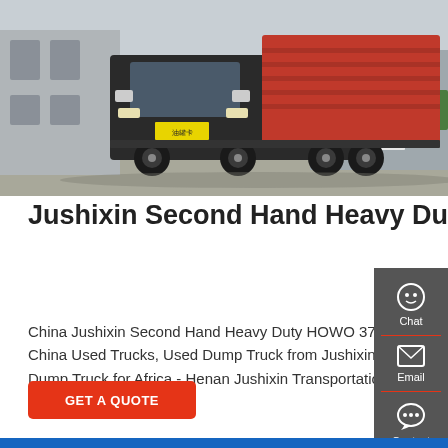[Figure (photo): A heavy duty HOWO dump truck (dark colored cab) with a red tipper body, parked in a yard. Chinese license plate visible. Industrial buildings in background.]
Jushixin Second Hand Heavy Duty HOWO 371HP 375HP Used
China Jushixin Second Hand Heavy Duty HOWO 371HP 375HP Used Truck Tipper Dump Truck for Africa, Find details about China Used Trucks, Used Dump Truck from Jushixin Second Hand Heavy Duty HOWO 371HP 375HP Used Truck Tipper Dump Truck for Africa - Henan Jushixin Transportation Equipment Co., Ltd.
GET A QUOTE